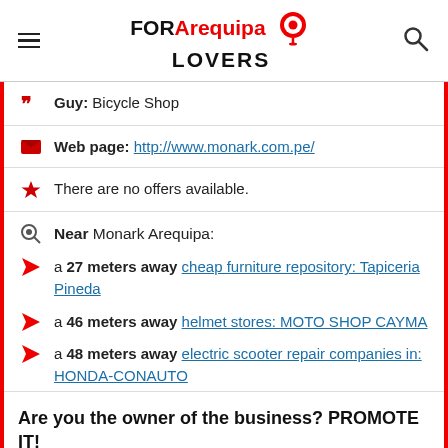FOR Arequipa LOVERS
Guy: Bicycle Shop
Web page: http://www.monark.com.pe/
There are no offers available.
Near Monark Arequipa:
a 27 meters away cheap furniture repository: Tapiceria Pineda
a 46 meters away helmet stores: MOTO SHOP CAYMA
a 48 meters away electric scooter repair companies in: HONDA-CONAUTO
Are you the owner of the business? PROMOTE IT!